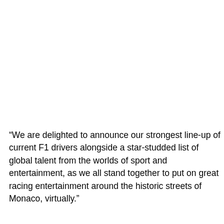“We are delighted to announce our strongest line-up of current F1 drivers alongside a star-studded list of global talent from the worlds of sport and entertainment, as we all stand together to put on great racing entertainment around the historic streets of Monaco, virtually.”